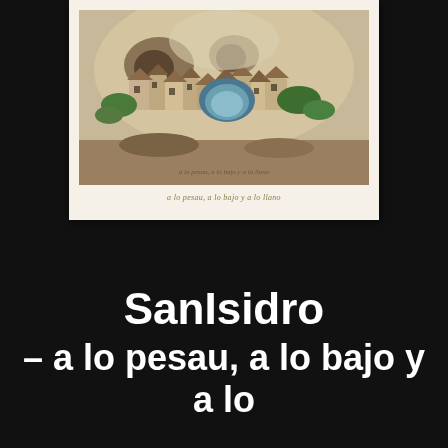[Figure (illustration): Book cover or artwork showing a colorful illustrated village scene with buildings, caves, and landscape rendered in a naive/folk art style, on a cream/ivory background with a caption below in small italic text reading 'a lo pesau, a lo bajo y a lo llano']
a lo pesau, a lo bajo y a lo llano
SanIsidro
– a lo pesau, a lo bajo y a lo llano